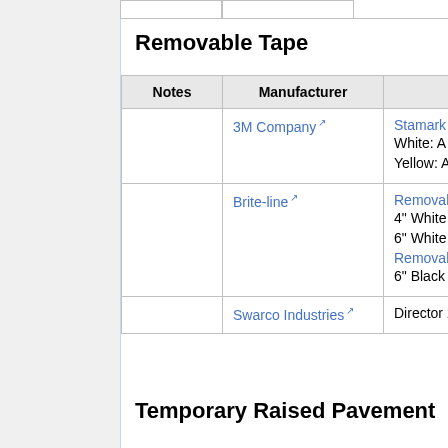Removable Tape
| Notes | Manufacturer |  |
| --- | --- | --- |
|  | 3M Company | Stamark W
White: A 71
Yellow: A 7 |
|  | Brite-line | Removable
4" White or
6" White (L
Removable
6" Black (L |
|  | Swarco Industries | Director 2 |
Temporary Raised Pavement